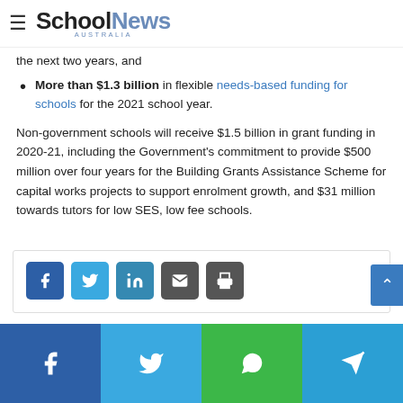SchoolNews AUSTRALIA
the next two years, and
More than $1.3 billion in flexible needs-based funding for schools for the 2021 school year.
Non-government schools will receive $1.5 billion in grant funding in 2020-21, including the Government's commitment to provide $500 million over four years for the Building Grants Assistance Scheme for capital works projects to support enrolment growth, and $31 million towards tutors for low SES, low fee schools.
[Figure (other): Social share buttons: Facebook, Twitter, LinkedIn, Email, Print]